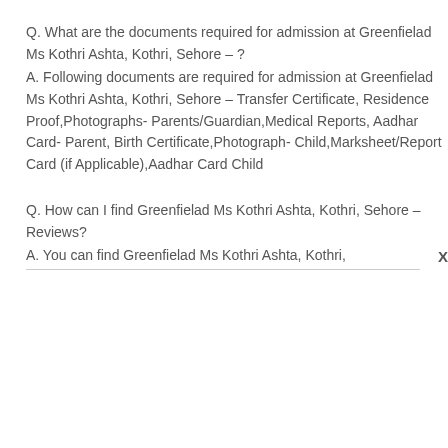Q. What are the documents required for admission at Greenfielad Ms Kothri Ashta, Kothri, Sehore – ?
A. Following documents are required for admission at Greenfielad Ms Kothri Ashta, Kothri, Sehore – Transfer Certificate, Residence Proof,Photographs- Parents/Guardian,Medical Reports, Aadhar Card- Parent, Birth Certificate,Photograph- Child,Marksheet/Report Card (if Applicable),Aadhar Card Child
Q. How can I find Greenfielad Ms Kothri Ashta, Kothri, Sehore – Reviews?
A. You can find Greenfielad Ms Kothri Ashta, Kothri,